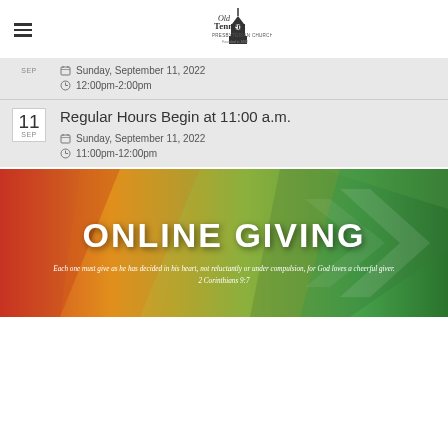Old Tennent Presbyterian Church
Sunday, September 11, 2022
12:00pm-2:00pm
Regular Hours Begin at 11:00 a.m.
Sunday, September 11, 2022
11:00pm-12:00pm
[Figure (illustration): Online Giving banner with colorful geometric background. Text reads: ONLINE GIVING. Subtitle: Each one must give as he has decided in his heart, not reluctantly or under compulsion, for God loves a cheerful giver. 2 Corinthians 9:7]